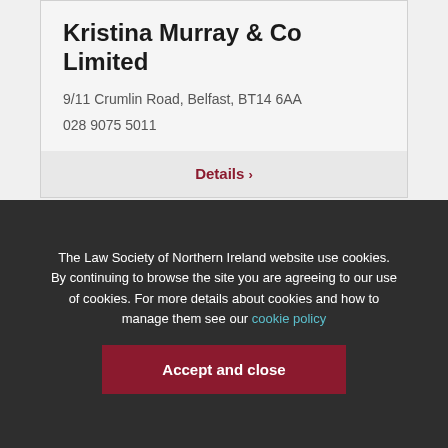Kristina Murray & Co Limited
9/11 Crumlin Road, Belfast, BT14 6AA
028 9075 5011
Details ›
WP Tweed & Co.
The Law Society of Northern Ireland website use cookies. By continuing to browse the site you are agreeing to our use of cookies. For more details about cookies and how to manage them see our cookie policy
Accept and close